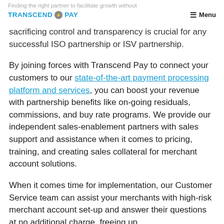Finding the right partner to facilitate growth without sacrificing control and transparency is crucial for any successful ISO partnership or ISV partnership.
By joining forces with Transcend Pay to connect your customers to our state-of-the-art payment processing platform and services, you can boost your revenue with partnership benefits like on-going residuals, commissions, and buy rate programs. We provide our independent sales-enablement partners with sales support and assistance when it comes to pricing, training, and creating sales collateral for merchant account solutions.
When it comes time for implementation, our Customer Service team can assist your merchants with high-risk merchant account set-up and answer their questions at no additional charge, freeing up